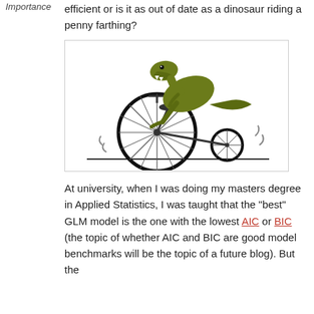Importance
efficient or is it as out of date as a dinosaur riding a penny farthing?
[Figure (illustration): Illustration of a T-Rex dinosaur riding a penny-farthing bicycle]
At university, when I was doing my masters degree in Applied Statistics, I was taught that the “best” GLM model is the one with the lowest AIC or BIC (the topic of whether AIC and BIC are good model benchmarks will be the topic of a future blog). But the